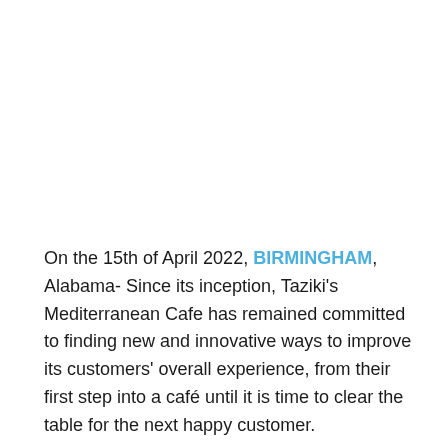On the 15th of April 2022, BIRMINGHAM, Alabama- Since its inception, Taziki's Mediterranean Cafe has remained committed to finding new and innovative ways to improve its customers' overall experience, from their first step into a café until it is time to clear the table for the next happy customer.